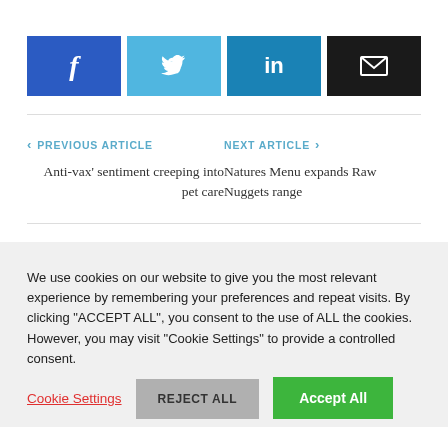[Figure (other): Social share buttons: Facebook (blue), Twitter (light blue), LinkedIn (dark blue), Email (black)]
PREVIOUS ARTICLE
Anti-vax' sentiment creeping into pet care
NEXT ARTICLE
Natures Menu expands Raw Nuggets range
We use cookies on our website to give you the most relevant experience by remembering your preferences and repeat visits. By clicking "ACCEPT ALL", you consent to the use of ALL the cookies. However, you may visit "Cookie Settings" to provide a controlled consent.
Cookie Settings
REJECT ALL
Accept All